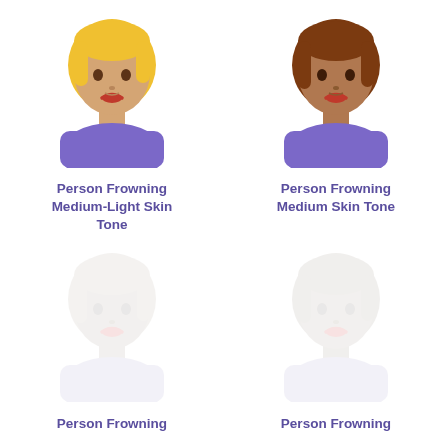[Figure (illustration): Emoji: Person Frowning with medium-light skin tone and blonde hair, wearing purple top]
Person Frowning Medium-Light Skin Tone
[Figure (illustration): Emoji: Person Frowning with medium skin tone and brown hair, wearing purple top]
Person Frowning Medium Skin Tone
[Figure (illustration): Emoji: Person Frowning faded/greyed out version 1]
Person Frowning
[Figure (illustration): Emoji: Person Frowning faded/greyed out version 2]
Person Frowning